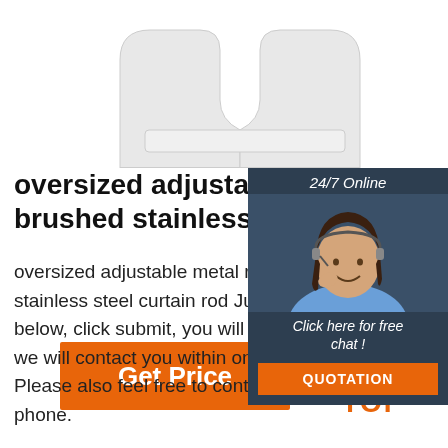[Figure (photo): Product photo of a white adjustable metal curtain rod, partially cropped at top of page]
oversized adjustable metal roc brushed stainless steel ...
oversized adjustable metal rod - brush stainless steel curtain rod Just fill in th below, click submit, you will get the pri we will contact you within one working Please also feel free to contact us via phone.
[Figure (photo): Customer service chat widget with dark blue background showing a female agent wearing a headset, '24/7 Online' label, 'Click here for free chat!' text, and an orange QUOTATION button]
[Figure (other): Orange Get Price button]
[Figure (logo): TOP logo with orange dotted arc above the word TOP]